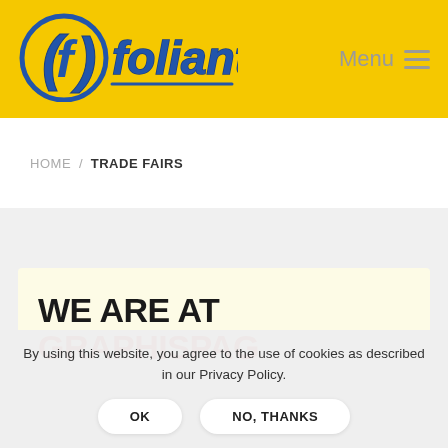[Figure (logo): Foliant logo — stylized letter f in a blue circle with yellow background, with the word 'foliant' in blue bubble letters on a yellow header bar]
Menu
HOME / TRADE FAIRS
WE ARE AT GRAPHISPAG
By using this website, you agree to the use of cookies as described in our Privacy Policy.
OK    NO, THANKS